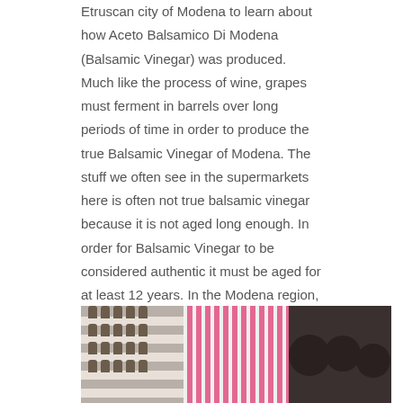Etruscan city of Modena to learn about how Aceto Balsamico Di Modena (Balsamic Vinegar) was produced.  Much like the process of wine, grapes must ferment in barrels over long periods of time in order to produce the true Balsamic Vinegar of Modena.  The stuff we often see in the supermarkets here is often not true balsamic vinegar because it is not aged long enough.  In order for Balsamic Vinegar to be considered authentic it must be aged for at least 12 years.  In the Modena region, families are given a set of barrels to ferment grapes when a child is born.  After 12 years, their first batch of Balsamic is ready and they can then shift the remnants of the larger barrels to the smallest.  The older the barrel, the better the balsamic.
[Figure (photo): A photograph showing shelves with barrels/bottles on the left, pink/red curtain stripes in the center, and dark silhouetted heads on the right.]